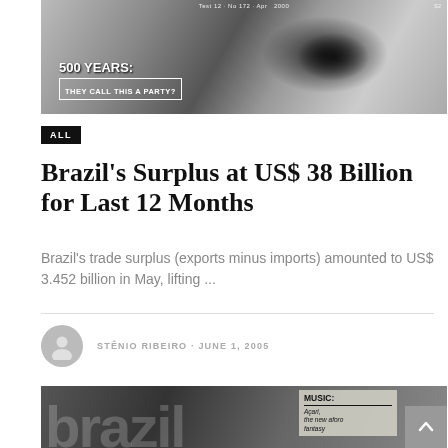[Figure (photo): Black and white close-up of a person's eye with text overlay reading '500 YEARS: THEY CALL THIS A PARTY?' and small metadata text 'Test 12 · No 172 · Apr 2000 $2']
ALL
Brazil's Surplus at US$ 38 Billion for Last 12 Months
Brazil's trade surplus (exports minus imports) amounted to US$ 3.452 billion in May, lifting ...
STÊNIO RIBEIRO · JUNE 1, 2005
[Figure (photo): Black and white magazine cover showing 'brazil' text in large letters with 'MUSIC: Açari, the new aforo fantasy' text on the right side]